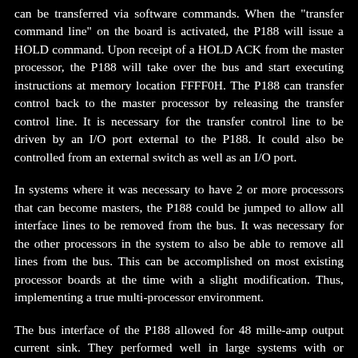can be transferred via software commands. When the "transfer command line" on the board is activated, the P188 will issue a HOLD command. Upon receipt of a HOLD ACK from the master processor, the P188 will take over the bus and start executing instructions at memory location FFFF0H. The P188 can transfer control back to the master processor by releasing the transfer control line. It is necessary for the transfer control line to be driven by an I/O port external to the P188. It could also be controlled from an external switch as well as an I/O port.
In systems where it was necessary to have 2 or more processors that can become masters, the P188 could be jumped to allow all interface lines to be removed from the bus. It was necessary for the other processors in the system to also be able to remove all lines from the bus. This can be accomplished on most existing processor boards at the time with a slight modification. Thus, implementing a true multi-processor environment.
The bus interface of the P188 allowed for 48 mille-amp output current sink. They performed well in large systems with or without bus terminators. Also, all control inputs had an RC filter and Schmitt-trigger to improve noise margins.
An LED indicator on the P188 card (top right) was on when it was in control of the bus. Two prototype IC locations were provided on